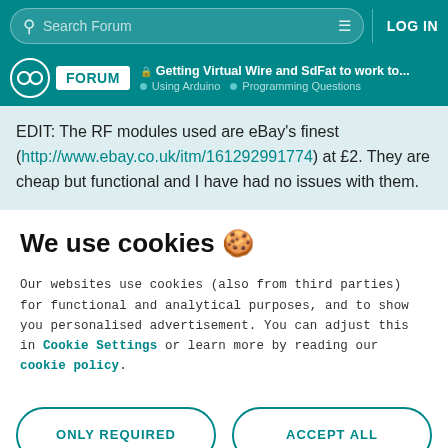Search Forum | LOG IN
Getting Virtual Wire and SdFat to work to... | Using Arduino | Programming Questions
EDIT: The RF modules used are eBay's finest (http://www.ebay.co.uk/itm/161292991774) at £2. They are cheap but functional and I have had no issues with them.
We use cookies 🍪
Our websites use cookies (also from third parties) for functional and analytical purposes, and to show you personalised advertisement. You can adjust this in Cookie Settings or learn more by reading our cookie policy.
ONLY REQUIRED
ACCEPT ALL